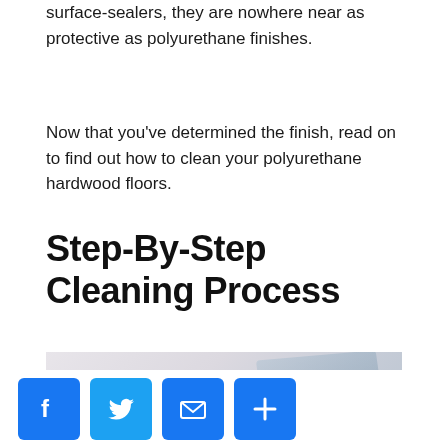surface-sealers, they are nowhere near as protective as polyurethane finishes.
Now that you've determined the finish, read on to find out how to clean your polyurethane hardwood floors.
Step-By-Step Cleaning Process
[Figure (photo): Photo of a person cleaning a hardwood floor, light background with muted blue cleaning tool visible]
[Figure (other): Social share bar with Facebook, Twitter, Email, and Plus/Share buttons]